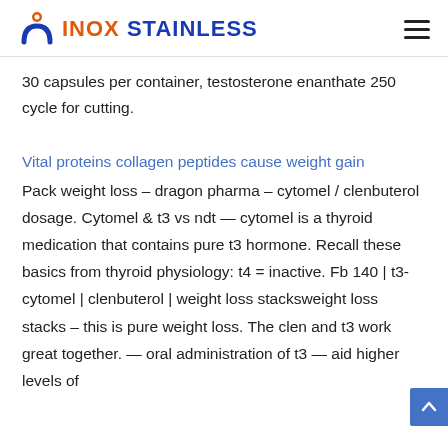INOX STAINLESS
30 capsules per container, testosterone enanthate 250 cycle for cutting.
Vital proteins collagen peptides cause weight gain
Pack weight loss – dragon pharma – cytomel / clenbuterol dosage. Cytomel & t3 vs ndt — cytomel is a thyroid medication that contains pure t3 hormone. Recall these basics from thyroid physiology: t4 = inactive. Fb 140 | t3-cytomel | clenbuterol | weight loss stacksweight loss stacks – this is pure weight loss. The clen and t3 work great together. — oral administration of t3 — aid higher levels of